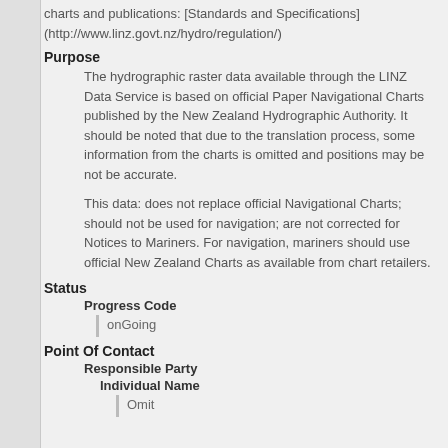charts and publications: [Standards and Specifications] (http://www.linz.govt.nz/hydro/regulation/)
Purpose
The hydrographic raster data available through the LINZ Data Service is based on official Paper Navigational Charts published by the New Zealand Hydrographic Authority. It should be noted that due to the translation process, some information from the charts is omitted and positions may be not be accurate.
This data: does not replace official Navigational Charts; should not be used for navigation; are not corrected for Notices to Mariners. For navigation, mariners should use official New Zealand Charts as available from chart retailers.
Status
Progress Code
onGoing
Point Of Contact
Responsible Party
Individual Name
Omit